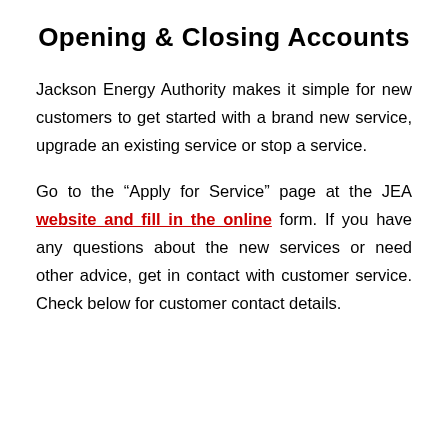Opening & Closing Accounts
Jackson Energy Authority makes it simple for new customers to get started with a brand new service, upgrade an existing service or stop a service.
Go to the “Apply for Service” page at the JEA website and fill in the online form. If you have any questions about the new services or need other advice, get in contact with customer service. Check below for customer contact details.